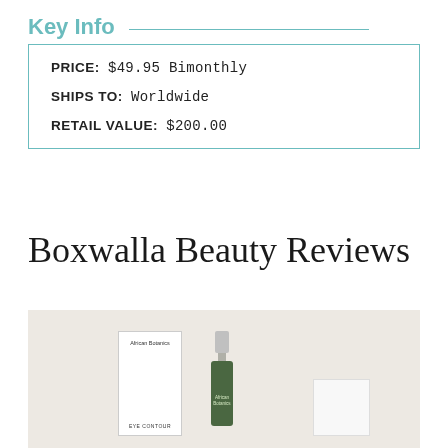Key Info
| PRICE: | $49.95 Bimonthly |
| SHIPS TO: | Worldwide |
| RETAIL VALUE: | $200.00 |
Boxwalla Beauty Reviews
[Figure (photo): Photo of beauty products on a light beige surface, including an African Botanics white box, a green serum bottle with silver cap, and a small white box on the right.]